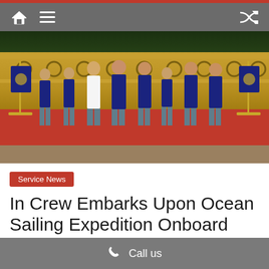Navigation bar with home, menu, and shuffle icons
[Figure (photo): Group of people in navy uniforms and one person in white shirt standing on a red carpet in front of a decorative wall, with naval pennant flags on either side]
Service News
In Crew Embarks Upon Ocean Sailing Expedition Onboard INSV Tarini T...
Call us